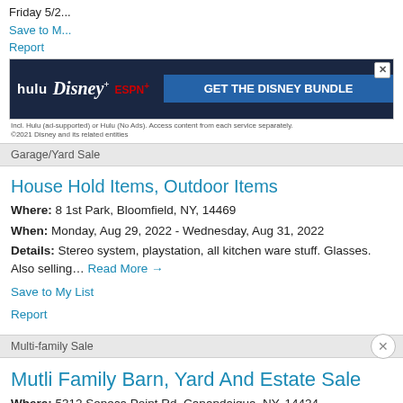Friday 5/2...
Save to M...
Report
[Figure (screenshot): Disney Bundle advertisement banner with Hulu, Disney+, ESPN+ logos and 'GET THE DISNEY BUNDLE' call to action button]
Garage/Yard Sale
House Hold Items, Outdoor Items
Where: 8 1st Park, Bloomfield, NY, 14469
When: Monday, Aug 29, 2022 - Wednesday, Aug 31, 2022
Details: Stereo system, playstation, all kitchen ware stuff. Glasses. Also selling… Read More →
Save to My List
Report
Multi-family Sale
Mutli Family Barn, Yard And Estate Sale
Where: 5312 Seneca Point Rd, Canandaigua, NY, 14424
When: Friday, Sep 2, 2022 - Sunday, Sep 4, 2022
Details: A large barn and two tents of items for sale. Furniture, household items… Read More →